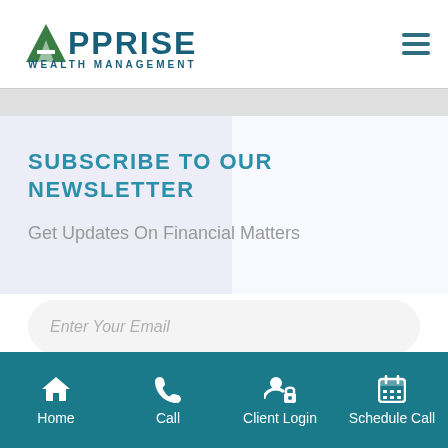Apprise Wealth Management
SUBSCRIBE TO OUR NEWSLETTER
Get Updates On Financial Matters
Enter Your Email
Home  Call  Client Login  Schedule Call